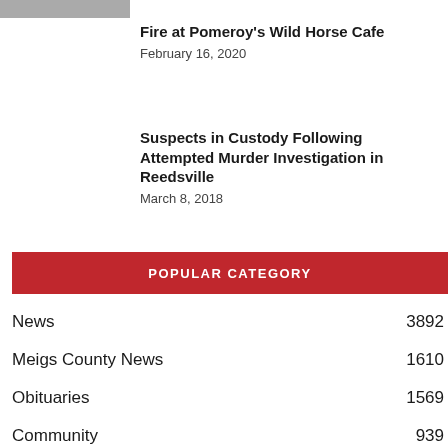[Figure (photo): Thumbnail image placeholder at top left]
Fire at Pomeroy's Wild Horse Cafe
February 16, 2020
Suspects in Custody Following Attempted Murder Investigation in Reedsville
March 8, 2018
POPULAR CATEGORY
News 3892
Meigs County News 1610
Obituaries 1569
Community 939
Courts and Police 899